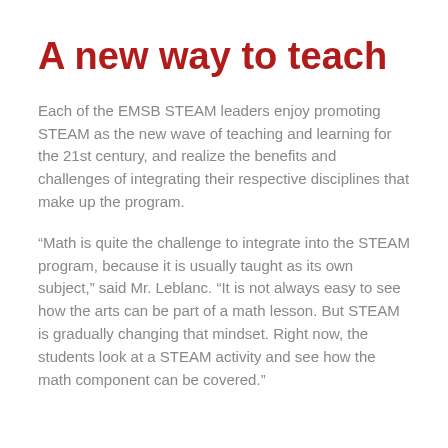A new way to teach
Each of the EMSB STEAM leaders enjoy promoting STEAM as the new wave of teaching and learning for the 21st century, and realize the benefits and challenges of integrating their respective disciplines that make up the program.
“Math is quite the challenge to integrate into the STEAM program, because it is usually taught as its own subject,” said Mr. Leblanc. “It is not always easy to see how the arts can be part of a math lesson. But STEAM is gradually changing that mindset. Right now, the students look at a STEAM activity and see how the math component can be covered.”